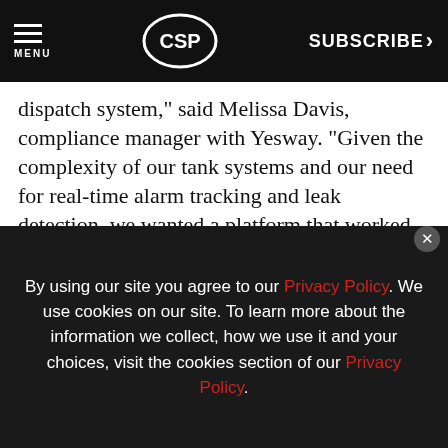MENU | CSP | SUBSCRIBE >
dispatch system,” said Melissa Davis, compliance manager with Yesway. “Given the complexity of our tank systems and our need for real-time alarm tracking and leak detection, we wanted a platform that worked with a number of different tank monitors. We needed a platform that could easily grow and scale with us... rebuilds, new construction and acquisitions.”
[Figure (other): Advertisement banner for Cuban Rounds TORO FRESHPACK cigar product with 'NOW AVAILABLE' and 'LEARN MORE' button]
By using our site you agree to our Privacy Policy. We use cookies on our site. To learn more about the information we collect, how we use it and your choices, visit the cookies section of our Privacy Policy.